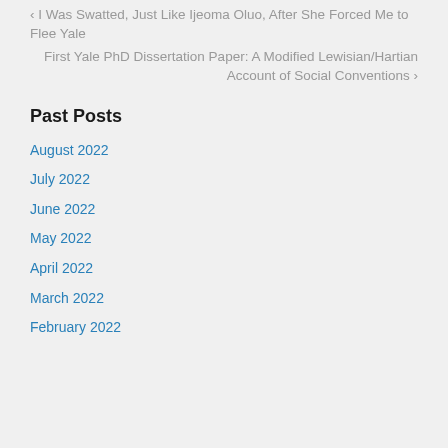‹ I Was Swatted, Just Like Ijeoma Oluo, After She Forced Me to Flee Yale
First Yale PhD Dissertation Paper: A Modified Lewisian/Hartian Account of Social Conventions ›
Past Posts
August 2022
July 2022
June 2022
May 2022
April 2022
March 2022
February 2022